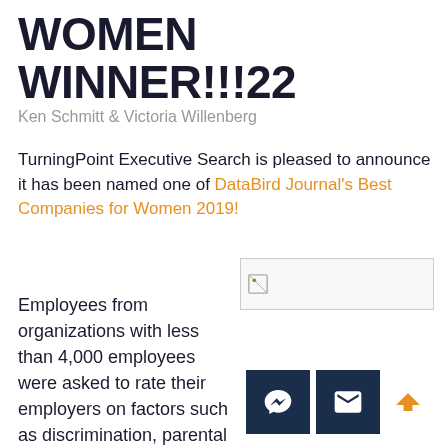WOMEN WINNER!!!22
Ken Schmitt & Victoria Willenberg
TurningPoint Executive Search is pleased to announce it has been named one of DataBird Journal's Best Companies for Women 2019!
[Figure (other): Broken image placeholder icon]
Employees from organizations with less than 4,000 employees were asked to rate their employers on factors such as discrimination, parental leave, and pay equity. Using those responses, DataBird explored what obstacles employees faced, which